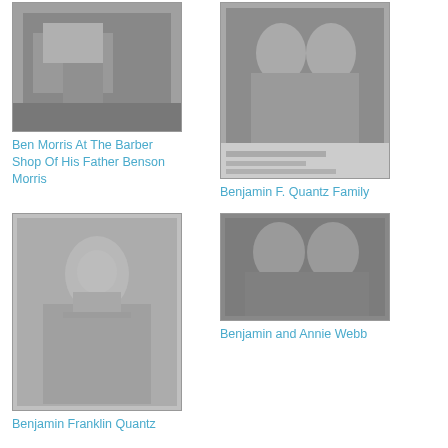[Figure (photo): Black and white photo of Ben Morris at the barber shop of his father Benson Morris]
Ben Morris At The Barber Shop Of His Father Benson Morris
[Figure (photo): Black and white family portrait photo of Benjamin F. Quantz Family]
Benjamin F. Quantz Family
[Figure (photo): Black and white portrait of Benjamin Franklin Quantz with beard]
Benjamin Franklin Quantz
[Figure (photo): Black and white photo of Benjamin and Annie Webb, couple portrait]
Benjamin and Annie Webb
[Figure (photo): Black and white outdoor photo, partially visible at bottom]
[Figure (photo): Black and white photo with sign, partially visible at bottom]